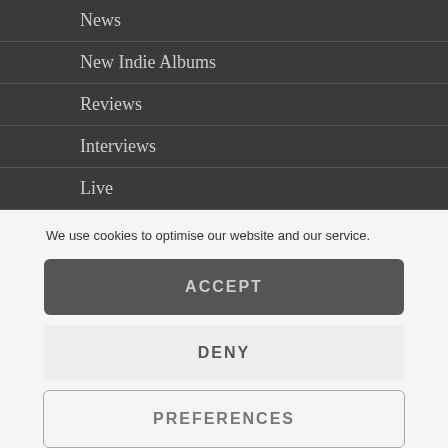News
New Indie Albums
Reviews
Interviews
Live
Submit / About / Contact
We use cookies to optimise our website and our service.
ACCEPT
DENY
PREFERENCES